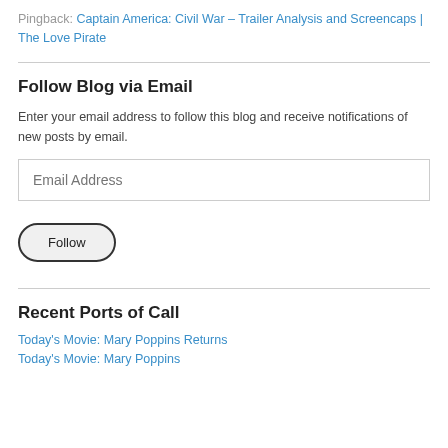Pingback: Captain America: Civil War – Trailer Analysis and Screencaps | The Love Pirate
Follow Blog via Email
Enter your email address to follow this blog and receive notifications of new posts by email.
Email Address
Follow
Recent Ports of Call
Today's Movie: Mary Poppins Returns
Today's Movie: Mary Poppins